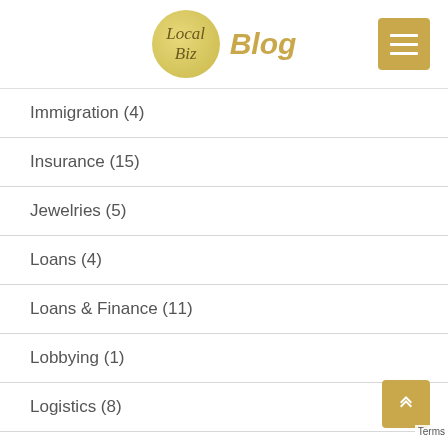Local Biz Blog
Immigration (4)
Insurance (15)
Jewelries (5)
Loans (4)
Loans & Finance (11)
Lobbying (1)
Logistics (8)
marketing (30)
Mass Media (14)